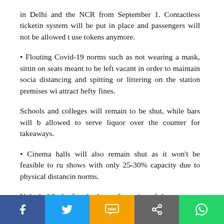in Delhi and the NCR from September 1. Contactless ticketing system will be put in place and passengers will not be allowed to use tokens anymore.
• Flouting Covid-19 norms such as not wearing a mask, sitting on seats meant to be left vacant in order to maintain social distancing and spitting or littering on the station premises will attract hefty fines.
Schools and colleges will remain to be shut, while bars will be allowed to serve liquor over the counter for takeaways.
• Cinema halls will also remain shut as it won't be feasible to run shows with only 25-30% capacity due to physical distancing norms.
Unlock 4.0, the fourth phase of opening of the economy after coronavirus lockdown, will start from September 1.
This phase comes at a time when India's Covid-19 tally has crossed the 3.46 million mark and the number of deaths due to
Facebook | Twitter | SMS | Share | WhatsApp